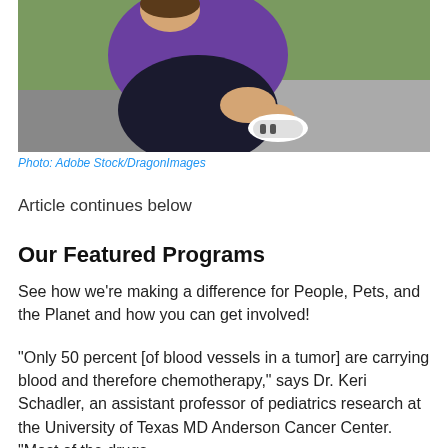[Figure (photo): A woman in a purple tank top and black leggings sitting outdoors, stretching her foot/shoe, with greenery in the background.]
Photo: Adobe Stock/DragonImages
Article continues below
Our Featured Programs
See how we're making a difference for People, Pets, and the Planet and how you can get involved!
“Only 50 percent [of blood vessels in a tumor] are carrying blood and therefore chemotherapy,” says Dr. Keri Schadler, an assistant professor of pediatrics research at the University of Texas MD Anderson Cancer Center. “Most of the drugs